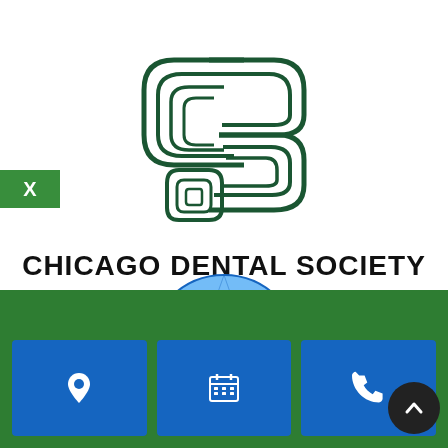[Figure (logo): Chicago Dental Society logo - interlocking C and S letters in dark green geometric line art style]
CHICAGO DENTAL SOCIETY
[Figure (logo): Globe with a white tooth in front, light blue globe showing world map, tooth has a lightning bolt mark]
[Figure (infographic): Green bar with X label on left, three blue buttons at bottom with location pin icon, calendar icon, and phone icon. Black circular scroll-to-top button on far right.]